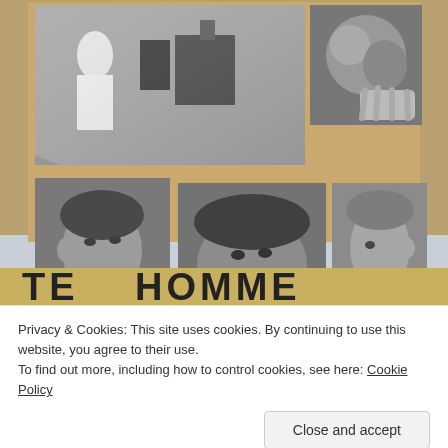[Figure (photo): Black and white archival photo collage on brown cardboard/paper background. Top row shows two photos: left image shows medical/scientific equipment with a figure in white, right image shows a close-up textured/organic form. Bottom row shows three portrait-style black and white photos of faces/heads of individuals. At the bottom of the collage, partial text visible reading 'HOMME'. Light blue/grey wall visible below the collage.]
Privacy & Cookies: This site uses cookies. By continuing to use this website, you agree to their use.
To find out more, including how to control cookies, see here: Cookie Policy
Close and accept